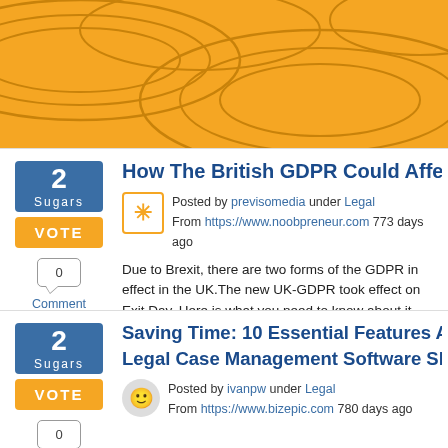[Figure (illustration): Orange decorative header banner with topographic/contour line patterns in slightly darker orange]
How The British GDPR Could Affect UK Bus...
Posted by previsomedia under Legal
From https://www.noobpreneur.com 773 days ago
Due to Brexit, there are two forms of the GDPR in effect in the UK.The new UK-GDPR took effect on Exit Day. Here is what you need to know about it. Read More
Saving Time: 10 Essential Features Any Enter... Legal Case Management Software Should Ha...
Posted by ivanpw under Legal
From https://www.bizepic.com 780 days ago